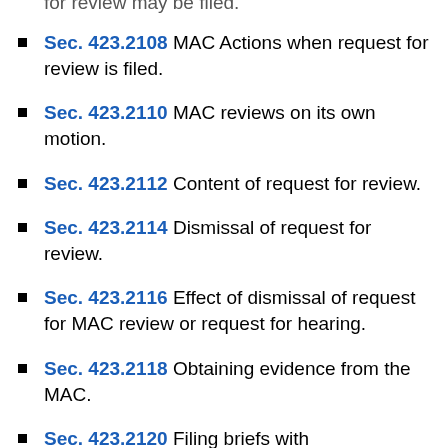Sec. 423.2108 MAC Actions when request for review is filed.
Sec. 423.2110 MAC reviews on its own motion.
Sec. 423.2112 Content of request for review.
Sec. 423.2114 Dismissal of request for review.
Sec. 423.2116 Effect of dismissal of request for MAC review or request for hearing.
Sec. 423.2118 Obtaining evidence from the MAC.
Sec. 423.2120 Filing briefs with